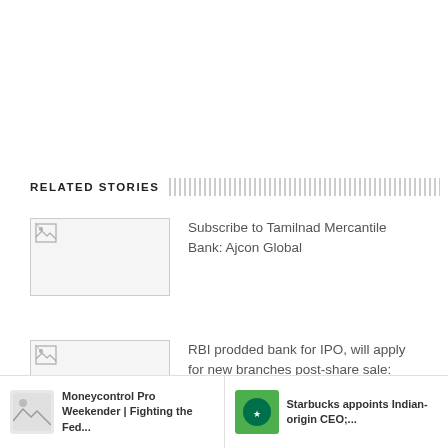RELATED STORIES
[Figure (photo): Broken image thumbnail placeholder for story 1]
Subscribe to Tamilnad Mercantile Bank: Ajcon Global
[Figure (photo): Broken image thumbnail placeholder for story 2]
RBI prodded bank for IPO, will apply for new branches post-share sale: Tamilnad Mercantile Bank MD ...
[Figure (photo): Moneycontrol Pro Weekender thumbnail]
Moneycontrol Pro Weekender | Fighting the Fed...
[Figure (photo): Starbucks green logo thumbnail]
Starbucks appoints Indian-origin CEO;...